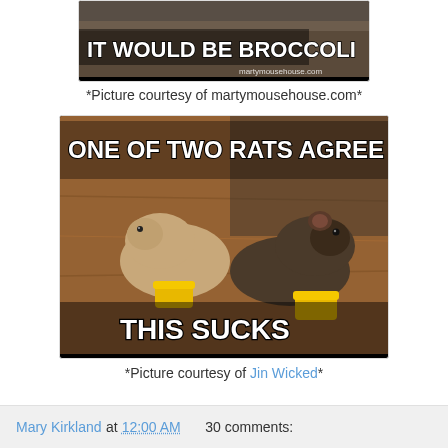[Figure (photo): Meme image of small rats/mice with text 'IT WOULD BE BROCCOLI' and watermark martymousehouse.com]
*Picture courtesy of martymousehouse.com*
[Figure (photo): Meme image of two rats eating from yellow containers with text 'ONE OF TWO RATS AGREE' and 'THIS SUCKS']
*Picture courtesy of Jin Wicked*
Mary Kirkland at 12:00 AM   30 comments: